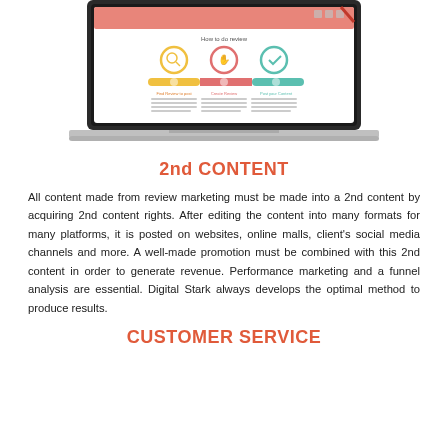[Figure (screenshot): Laptop displaying a 'How to do review' infographic with three steps: Find Review to post, Create Review, Post your Content, shown with circular icons and a colored progress bar in yellow, red/orange, and green.]
2nd CONTENT
All content made from review marketing must be made into a 2nd content by acquiring 2nd content rights. After editing the content into many formats for many platforms, it is posted on websites, online malls, client's social media channels and more. A well-made promotion must be combined with this 2nd content in order to generate revenue. Performance marketing and a funnel analysis are essential. Digital Stark always develops the optimal method to produce results.
CUSTOMER SERVICE